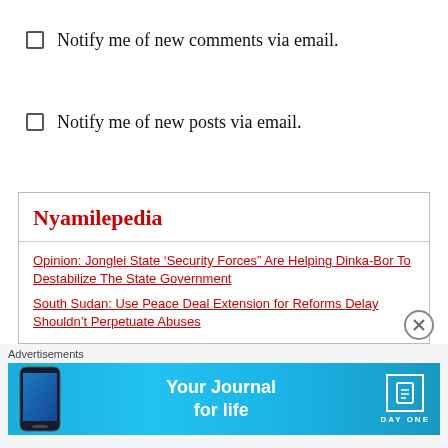Notify me of new comments via email.
Notify me of new posts via email.
Nyamilepedia
Opinion: Jonglei State ‘Security Forces” Are Helping Dinka-Bor To Destabilize The State Government
South Sudan: Use Peace Deal Extension for Reforms Delay Shouldn’t Perpetuate Abuses
[Figure (photo): Conference or parliament meeting room with people seated at long tables]
Advertisements
[Figure (infographic): DayOne app advertisement banner - Your Journal for life]